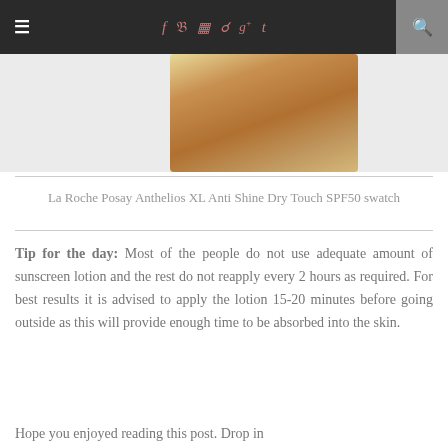≡  f  t  ☷  ⊕  g+  t  🔍
[Figure (photo): Partial view of a golden/tan sunscreen product swatch on skin or surface, with white background on either side]
La Roche Posay Anthelios XL Anti Shine Dry Touch SPF50 swatch
Tip for the day: Most of the people do not use adequate amount of sunscreen lotion and the rest do not reapply every 2 hours as required. For best results it is advised to apply the lotion 15-20 minutes before going outside as this will provide enough time to be absorbed into the skin.
Hope you enjoyed reading this post. Drop in